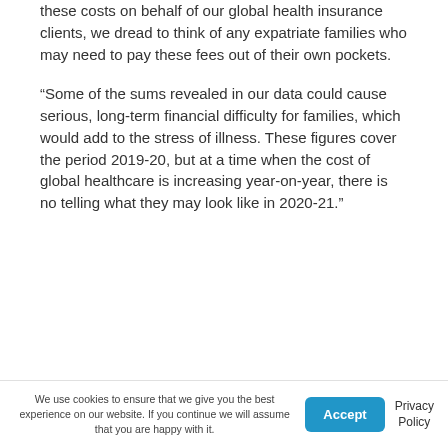these costs on behalf of our global health insurance clients, we dread to think of any expatriate families who may need to pay these fees out of their own pockets.
“Some of the sums revealed in our data could cause serious, long-term financial difficulty for families, which would add to the stress of illness. These figures cover the period 2019-20, but at a time when the cost of global healthcare is increasing year-on-year, there is no telling what they may look like in 2020-21.”
We use cookies to ensure that we give you the best experience on our website. If you continue we will assume that you are happy with it.